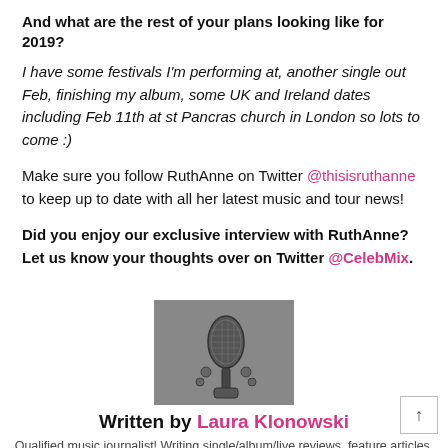And what are the rest of your plans looking like for 2019?
I have some festivals I'm performing at, another single out Feb, finishing my album, some UK and Ireland dates including Feb 11th at st Pancras church in London so lots to come :)
Make sure you follow RuthAnne on Twitter @thisisruthanne to keep up to date with all her latest music and tour news!
Did you enjoy our exclusive interview with RuthAnne? Let us know your thoughts over on Twitter @CelebMix.
[Figure (photo): Black and white photo of a microphone]
Written by Laura Klonowski
Qualified music journalist! Writing single/album/live reviews, feature articles, interviews, and news pieces.
Portfolio: lauraklonowski.com